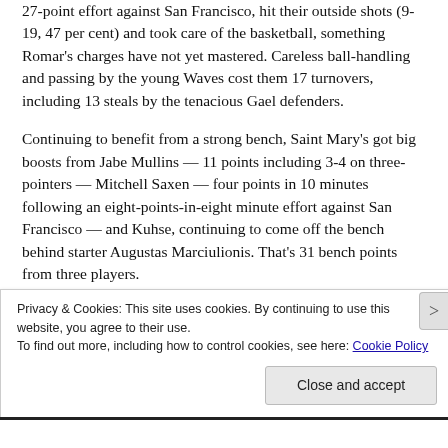27-point effort against San Francisco, hit their outside shots (9-19, 47 per cent) and took care of the basketball, something Romar's charges have not yet mastered. Careless ball-handling and passing by the young Waves cost them 17 turnovers, including 13 steals by the tenacious Gael defenders.
Continuing to benefit from a strong bench, Saint Mary's got big boosts from Jabe Mullins — 11 points including 3-4 on three-pointers — Mitchell Saxen — four points in 10 minutes following an eight-points-in-eight minute effort against San Francisco — and Kuhse, continuing to come off the bench behind starter Augustas Marciulionis. That's 31 bench points from three players.
Privacy & Cookies: This site uses cookies. By continuing to use this website, you agree to their use. To find out more, including how to control cookies, see here: Cookie Policy